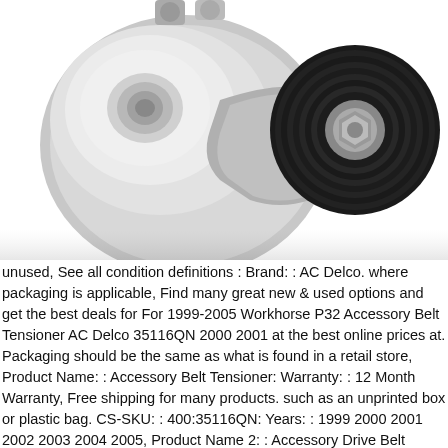[Figure (photo): Product photo of an AC Delco Accessory Belt Tensioner assembly. The image shows a metal tensioner bracket with a black grooved pulley wheel on the right side and a smooth silver/chrome pulley on the upper left. The background is white.]
unused, See all condition definitions : Brand: : AC Delco. where packaging is applicable, Find many great new & used options and get the best deals for For 1999-2005 Workhorse P32 Accessory Belt Tensioner AC Delco 35116QN 2000 2001 at the best online prices at. Packaging should be the same as what is found in a retail store, Product Name: : Accessory Belt Tensioner: Warranty: : 12 Month Warranty, Free shipping for many products. such as an unprinted box or plastic bag. CS-SKU: : 400:35116QN: Years: : 1999 2000 2001 2002 2003 2004 2005, Product Name 2: : Accessory Drive Belt Tensioner Assembly: Notes: : Professional -- New. Condition:: New: A brand-new,